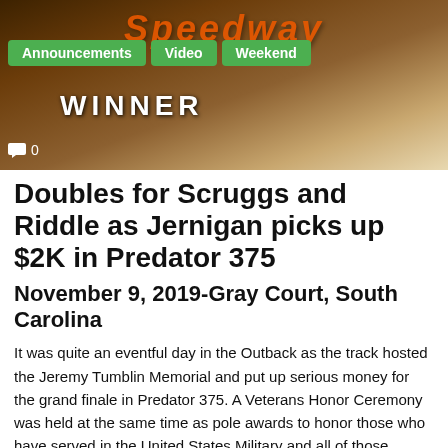[Figure (photo): Header image of a racing event banner with orange stylized text logo partially visible, navigation tabs for Announcements, Video, Weekend, a 'WINNER' banner text, and a comment count of 0]
Doubles for Scruggs and Riddle as Jernigan picks up $2K in Predator 375
November 9, 2019-Gray Court, South Carolina
It was quite an eventful day in the Outback as the track hosted the Jeremy Tumblin Memorial and put up serious money for the grand finale in Predator 375. A Veterans Honor Ceremony was held at the same time as pole awards to honor those who have served in the United States Military and all of those around the world as we honor Veterans and Remembrance Day. Special winners checks were also handed to main event as part of the festivities. In total, well over 100+ packed into Outback to be apart of the 13 classes on the card.